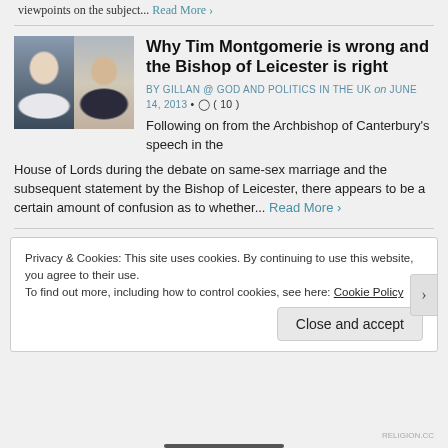viewpoints on the subject... Read More ›
Why Tim Montgomerie is wrong and the Bishop of Leicester is right
BY GILLAN @ GOD AND POLITICS IN THE UK on JUNE 14, 2013 • ◯ ( 10 )
[Figure (photo): Two photos side by side: a bishop in clerical collar on the left, and a man with glasses on the right]
Following on from the Archbishop of Canterbury's speech in the House of Lords during the debate on same-sex marriage and the subsequent statement by the Bishop of Leicester, there appears to be a certain amount of confusion as to whether... Read More ›
Privacy & Cookies: This site uses cookies. By continuing to use this website, you agree to their use.
To find out more, including how to control cookies, see here: Cookie Policy
Close and accept